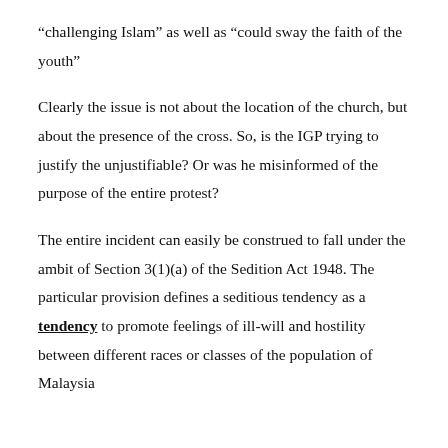“challenging Islam” as well as “could sway the faith of the youth”
Clearly the issue is not about the location of the church, but about the presence of the cross. So, is the IGP trying to justify the unjustifiable? Or was he misinformed of the purpose of the entire protest?
The entire incident can easily be construed to fall under the ambit of Section 3(1)(a) of the Sedition Act 1948. The particular provision defines a seditious tendency as a tendency to promote feelings of ill-will and hostility between different races or classes of the population of Malaysia